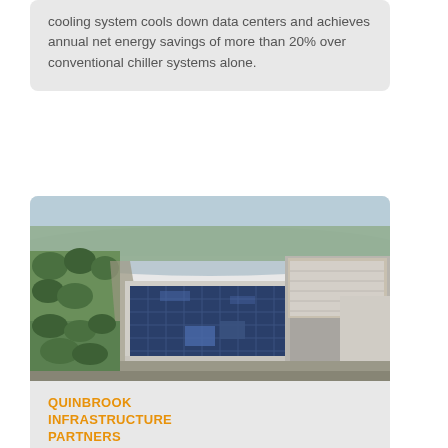cooling system cools down data centers and achieves annual net energy savings of more than 20% over conventional chiller systems alone.
[Figure (photo): Aerial view of an industrial/data center complex with solar panels on rooftops, surrounded by trees and roads.]
QUINBROOK INFRASTRUCTURE PARTNERS
Quinbrook launches $2.5 billion 'Supernode' 800MW data